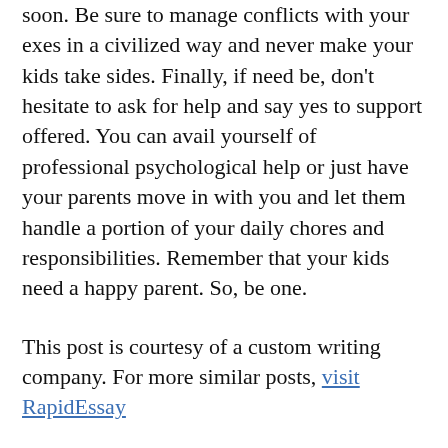soon. Be sure to manage conflicts with your exes in a civilized way and never make your kids take sides. Finally, if need be, don't hesitate to ask for help and say yes to support offered. You can avail yourself of professional psychological help or just have your parents move in with you and let them handle a portion of your daily chores and responsibilities. Remember that your kids need a happy parent. So, be one.
This post is courtesy of a custom writing company. For more similar posts, visit RapidEssay